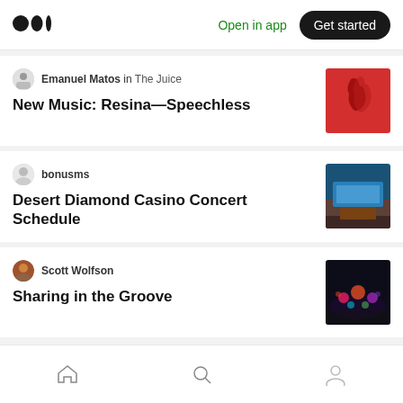Medium logo | Open in app | Get started
Emanuel Matos in The Juice — New Music: Resina—Speechless
bonusms — Desert Diamond Casino Concert Schedule
Scott Wolfson — Sharing in the Groove
Home | Search | Profile